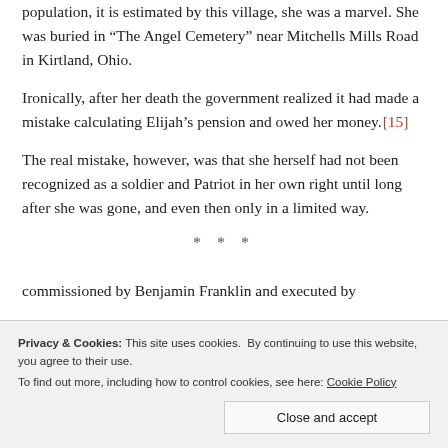population, it is estimated by this village, she was a marvel. She was buried in “The Angel Cemetery” near Mitchells Mills Road in Kirtland, Ohio.
Ironically, after her death the government realized it had made a mistake calculating Elijah’s pension and owed her money. [15]
The real mistake, however, was that she herself had not been recognized as a soldier and Patriot in her own right until long after she was gone, and even then only in a limited way.
* * *
Privacy & Cookies: This site uses cookies. By continuing to use this website, you agree to their use. To find out more, including how to control cookies, see here: Cookie Policy
Close and accept
commissioned by Benjamin Franklin and executed by